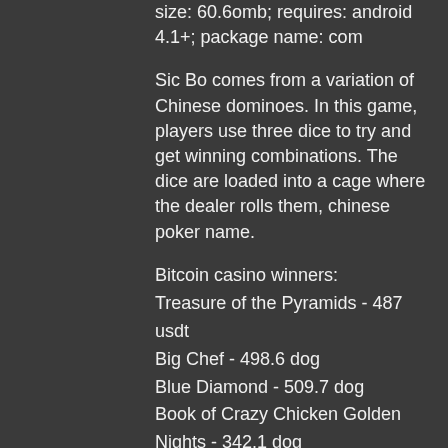size: 60.6omb; requires: android 4.1+; package name: com
Sic Bo comes from a variation of Chinese dominoes. In this game, players use three dice to try and get winning combinations. The dice are loaded into a cage where the dealer rolls them, chinese poker name.
Bitcoin casino winners:
Treasure of the Pyramids - 487 usdt
Big Chef - 498.6 dog
Blue Diamond - 509.7 dog
Book of Crazy Chicken Golden Nights - 342.1 dog
Golden Tour - 174.1 dog
Smoking Dogs - 214.2 btc
Moon Rabbit - 312.3 eth
Roboslots - 623 dog
Ryan OBryan and the Celtic Fairies - 75.1 usdt
Space Wars - 465.8 btc
Glamorous Times - 302.7 dog